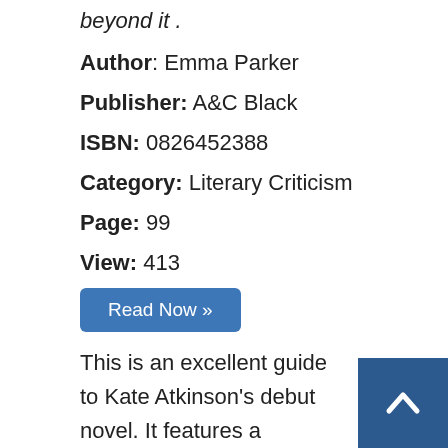beyond it.
Author: Emma Parker
Publisher: A&C Black
ISBN: 0826452388
Category: Literary Criticism
Page: 99
View: 413
Read Now »
This is an excellent guide to Kate Atkinson's debut novel. It features a biography of the author, a full-length analysis of the novel, and a great deal more. If you're studying t l, reading it for your book club, or if you simply